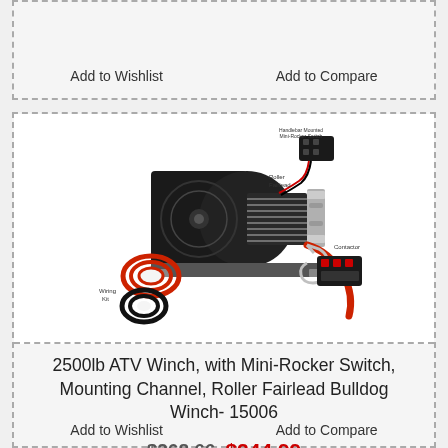Add to Wishlist
Add to Compare
[Figure (photo): 2500lb ATV Winch product photo showing the winch unit with steel cable, red hook strap, wiring kit (black coil), red power cable coil, handlebar mounted mini-rocker switch, roller fairlead, and contactor components with labels.]
2500lb ATV Winch, with Mini-Rocker Switch, Mounting Channel, Roller Fairlead Bulldog Winch- 15006
$268.66 $244.99
Add to Wishlist
Add to Compare